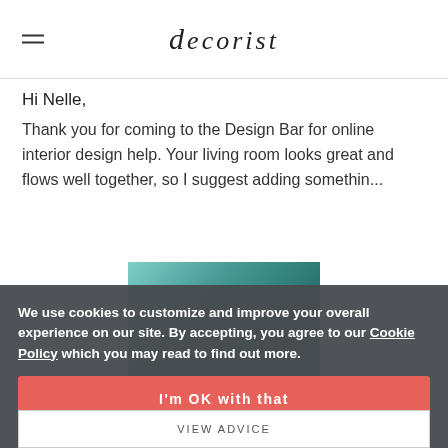decorist
Hi Nelle,
Thank you for coming to the Design Bar for online interior design help. Your living room looks great and flows well together, so I suggest adding somethin...
[Figure (photo): Two teal/turquoise stone or tile product samples side by side]
We use cookies to customize and improve your overall experience on our site. By accepting, you agree to our Cookie Policy which you may read to find out more.
I'm OK with that
OVERSTOCK
Update my preferences
VIEW ADVICE